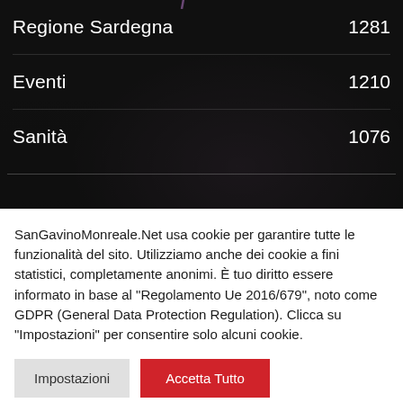Regione Sardegna   1281
Eventi   1210
Sanità   1076
[Figure (photo): Dark background with blurred interior scene and purple umbrella shape visible at bottom]
SanGavinoMonreale.Net usa cookie per garantire tutte le funzionalità del sito. Utilizziamo anche dei cookie a fini statistici, completamente anonimi. È tuo diritto essere informato in base al "Regolamento Ue 2016/679", noto come GDPR (General Data Protection Regulation). Clicca su "Impostazioni" per consentire solo alcuni cookie.
Impostazioni
Accetta Tutto